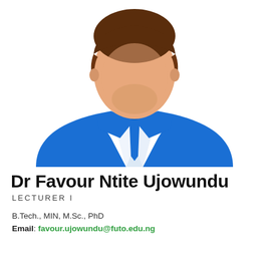[Figure (illustration): Generic male avatar illustration showing a man in a blue suit with a blue tie and white dress shirt, no facial features (faceless placeholder avatar), brown hair, bust-length profile image.]
Dr Favour Ntite Ujowundu
LECTURER I
B.Tech., MIN, M.Sc., PhD
Email: favour.ujowundu@futo.edu.ng